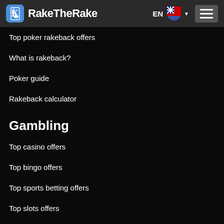RakeTheRake EN
Top poker rakeback offers
What is rakeback?
Poker guide
Rakeback calculator
Gambling
Top casino offers
Top bingo offers
Top sports betting offers
Top slots offers
Promotions
Poker races
Freerolls
Special promotions